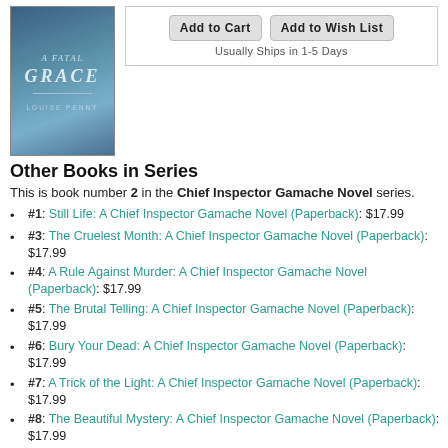[Figure (illustration): Book cover of 'A Fatal Grace' by Louise Penny, with blue/teal winter scene background]
Add to Cart | Add to Wish List
Usually Ships in 1-5 Days
Other Books in Series
This is book number 2 in the Chief Inspector Gamache Novel series.
#1: Still Life: A Chief Inspector Gamache Novel (Paperback): $17.99
#3: The Cruelest Month: A Chief Inspector Gamache Novel (Paperback): $17.99
#4: A Rule Against Murder: A Chief Inspector Gamache Novel (Paperback): $17.99
#5: The Brutal Telling: A Chief Inspector Gamache Novel (Paperback): $17.99
#6: Bury Your Dead: A Chief Inspector Gamache Novel (Paperback): $17.99
#7: A Trick of the Light: A Chief Inspector Gamache Novel (Paperback): $17.99
#8: The Beautiful Mystery: A Chief Inspector Gamache Novel (Paperback): $17.99